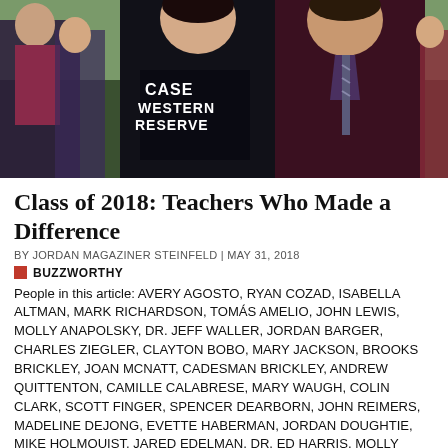[Figure (photo): Photo of two students embracing outdoors. One wearing a 'Case Western Reserve' black t-shirt, the other in a dark maroon/burgundy button-down shirt with a striped tie. Other students visible in background on grass.]
Class of 2018: Teachers Who Made a Difference
BY JORDAN MAGAZINER STEINFELD | MAY 31, 2018
BUZZWORTHY
People in this article: AVERY AGOSTO, RYAN COZAD, ISABELLA ALTMAN, MARK RICHARDSON, TOMÁS AMELIO, JOHN LEWIS, MOLLY ANAPOLSKY, DR. JEFF WALLER, JORDAN BARGER, CHARLES ZIEGLER, CLAYTON BOBO, MARY JACKSON, BROOKS BRICKLEY, JOAN MCNATT, CADESMAN BRICKLEY, ANDREW QUITTENTON, CAMILLE CALABRESE, MARY WAUGH, COLIN CLARK, SCOTT FINGER, SPENCER DEARBORN, JOHN REIMERS, MADELINE DEJONG, EVETTE HABERMAN, JORDAN DOUGHTIE, MIKE HOLMQUIST, JARED EDELMAN, DR. ED HARRIS, MOLLY ERFERT, MICHAEL HORNE, KYLE GOODSON, KARL POETZL, BAYLE GOLDMAN, SHARON SHARADIN, AARON MARKHAM, TANIA ANDREWS, ABBY HARALSON, MARIA MENES, LAUREN HERRERA, DR.